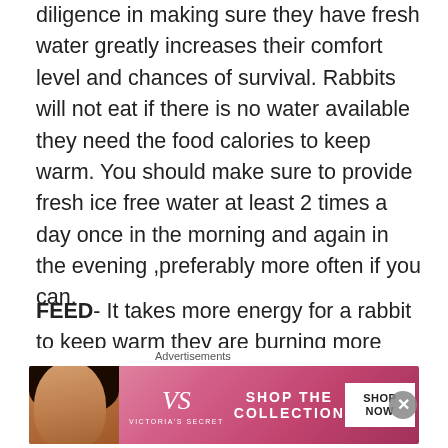diligence in making sure they have fresh water greatly increases their comfort level and chances of survival. Rabbits will not eat if there is no water available they need the food calories to keep warm. You should make sure to provide fresh ice free water at least 2 times a day once in the morning and again in the evening ,preferably more often if you can.
FEED- It takes more energy for a rabbit to keep warm they are burning more calories during frigid temperatures trying to generate more body heat. Hay and feed should be slightly increased as they will need the extra calories in the winter to maintain their body weight. It is important not to overfeed! Feed to maintain their body weight. Rabbits that
Advertisements
[Figure (other): Victoria's Secret advertisement banner with a woman's face, VS logo, 'SHOP THE COLLECTION' text, and 'SHOP NOW' button]